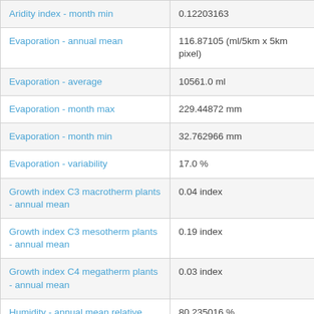| Parameter | Value |
| --- | --- |
| Aridity index - month min | 0.12203163 |
| Evaporation - annual mean | 116.87105 (ml/5km x 5km pixel) |
| Evaporation - average | 10561.0 ml |
| Evaporation - month max | 229.44872 mm |
| Evaporation - month min | 32.762966 mm |
| Evaporation - variability | 17.0 % |
| Growth index C3 macrotherm plants - annual mean | 0.04 index |
| Growth index C3 mesotherm plants - annual mean | 0.19 index |
| Growth index C4 megatherm plants - annual mean | 0.03 index |
| Humidity - annual mean relative | 80.235016 % |
| Humidity - annual mean relative 3pm | 65.507065 % |
| Humidity - month max relative | 85.00848 % |